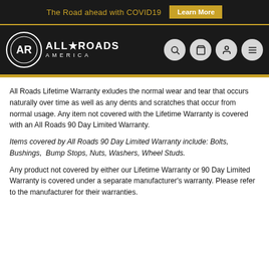The Road ahead with COVID19  Learn More
[Figure (logo): All Roads America logo with circular AR emblem and navigation icons (search, cart, user, menu)]
All Roads Lifetime Warranty exludes the normal wear and tear that occurs naturally over time as well as any dents and scratches that occur from normal usage. Any item not covered with the Lifetime Warranty is covered with an All Roads 90 Day Limited Warranty.
Items covered by All Roads 90 Day Limited Warranty include: Bolts, Bushings, Bump Stops, Nuts, Washers, Wheel Studs.
Any product not covered by either our Lifetime Warranty or 90 Day Limited Warranty is covered under a separate manufacturer's warranty. Please refer to the manufacturer for their warranties.